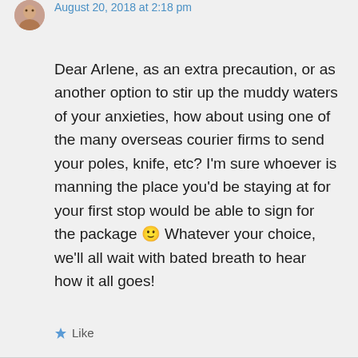bhasman on August 20, 2018 at 2:18 pm
Dear Arlene, as an extra precaution, or as another option to stir up the muddy waters of your anxieties, how about using one of the many overseas courier firms to send your poles, knife, etc? I'm sure whoever is manning the place you'd be staying at for your first stop would be able to sign for the package 🙂 Whatever your choice, we'll all wait with bated breath to hear how it all goes!
Like